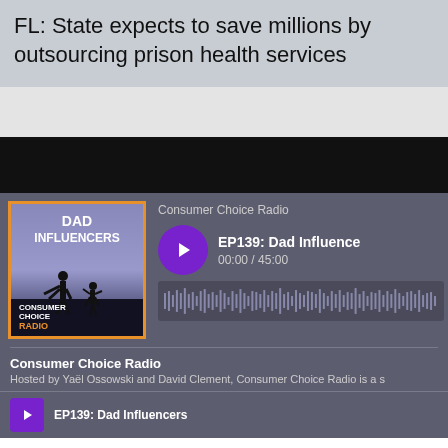FL: State expects to save millions by outsourcing prison health services
[Figure (screenshot): Podcast player interface for Consumer Choice Radio showing EP139: Dad Influencers with album art, play button, time display 00:00 / 45:00, and waveform]
Consumer Choice Radio
EP139: Dad Influencers
00:00 / 45:00
Consumer Choice Radio
Hosted by Yaël Ossowski and David Clement, Consumer Choice Radio is a s
EP139: Dad Influencers